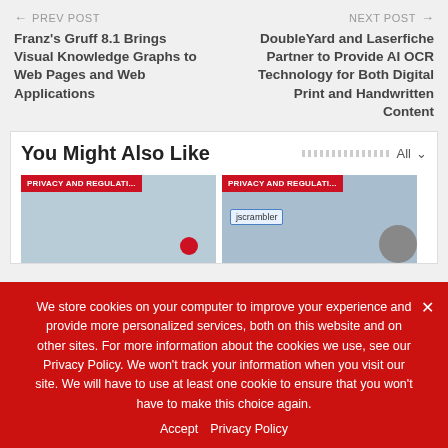← PREV POST
Franz's Gruff 8.1 Brings Visual Knowledge Graphs to Web Pages and Web Applications
NEXT POST →
DoubleYard and Laserfiche Partner to Provide AI OCR Technology for Both Digital Print and Handwritten Content
You Might Also Like
[Figure (screenshot): Two article preview cards each labeled PRIVACY AND REGULATI... in red banners. Left card shows a light blue background with a red circle. Right card shows a light blue background with a jscrambler badge and a person avatar.]
We store cookies on your computer to improve your experience and provide more personalized services, both on this website and on other sites. For more information about the cookies we use, see our Privacy Policy. We won't track your information when you visit our site. We will have to use at least one cookie to ensure that you won't have to make this choice again.
Accept   Privacy Policy